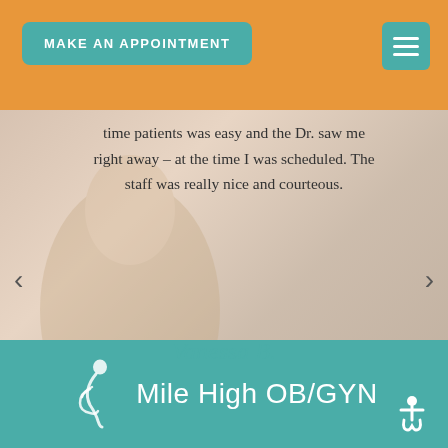MAKE AN APPOINTMENT
time patients was easy and the Dr. saw me right away – at the time I was scheduled. The staff was really nice and courteous.
Vanessa B.
[Figure (logo): Mile High OB/GYN logo with pregnant woman silhouette icon and white text on teal background]